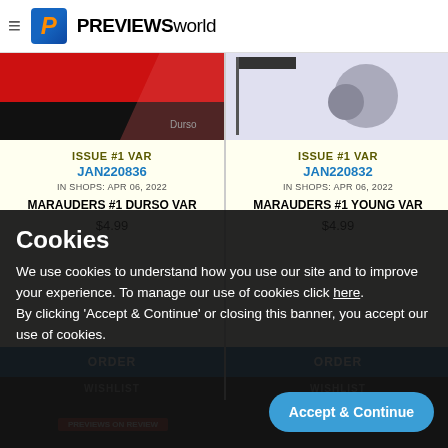PREVIEWSworld
ISSUE #1 VAR
JAN220836
IN SHOPS: APR 06, 2022
MARAUDERS #1 DURSO VAR
$4.99
ISSUE #1 VAR
JAN220832
IN SHOPS: APR 06, 2022
MARAUDERS #1 YOUNG VAR
$4.99
ORDER
ORDER
WISHLIST
WISHLIST
Cookies
We use cookies to understand how you use our site and to improve your experience. To manage our use of cookies click here.
By clicking 'Accept & Continue' or closing this banner, you accept our use of cookies.
Accept & Continue